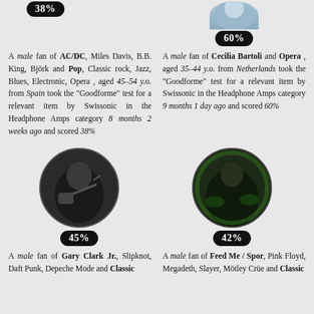[Figure (photo): Circular profile photo with 38% score badge - top left, partially visible]
A male fan of AC/DC, Miles Davis, B.B. King, Björk and Pop, Classic rock, Jazz, Blues, Electronic, Opera , aged 45-54 y.o. from Spain took the "Goodforme" test for a relevant item by Swissonic in the Headphone Amps category 8 months 2 weeks ago and scored 38%
[Figure (photo): Circular profile photo with 60% score badge - top right]
A male fan of Cecilia Bartoli and Opera , aged 35-44 y.o. from Netherlands took the "Goodforme" test for a relevant item by Swissonic in the Headphone Amps category 9 months 1 day ago and scored 60%
[Figure (photo): Circular profile photo of guitarist with 45% score badge - bottom left]
A male fan of Gary Clark Jr., Slipknot, Daft Punk, Depeche Mode and Classic rock, Metal, Blues...
[Figure (photo): Circular profile photo with green lighting and 42% score badge - bottom right]
A male fan of Feed Me / Spor, Pink Floyd, Megadeth, Slayer, Mötley Crüe and Classic rock, Metal, D...